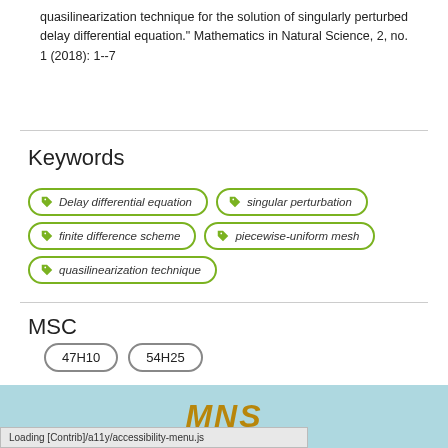quasilinearization technique for the solution of singularly perturbed delay differential equation." Mathematics in Natural Science, 2, no. 1 (2018): 1--7
Keywords
Delay differential equation
singular perturbation
finite difference scheme
piecewise-uniform mesh
quasilinearization technique
MSC
47H10
54H25
MNS
NS. All rights reserved.
Loading [Contrib]/a11y/accessibility-menu.js